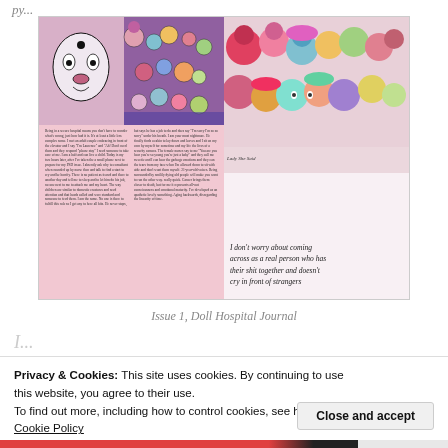py...
[Figure (photo): Scan of Issue 1, Doll Hospital Journal spread showing colorful illustrated artwork and handwritten text reading 'I don't worry about coming across as a real person who has their shit together and doesn't cry in front of strangers']
Issue 1, Doll Hospital Journal
Privacy & Cookies: This site uses cookies. By continuing to use this website, you agree to their use.
To find out more, including how to control cookies, see here: Cookie Policy
Close and accept